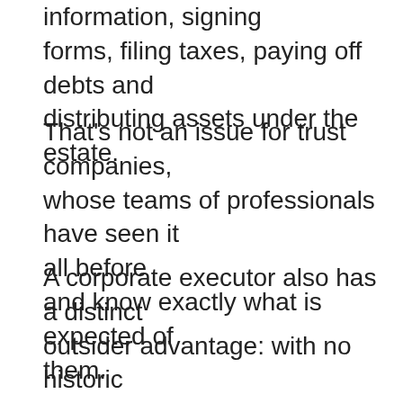information, signing forms, filing taxes, paying off debts and distributing assets under the estate.
That's not an issue for trust companies, whose teams of professionals have seen it all before and know exactly what is expected of them.
A corporate executor also has a distinct outsider advantage: with no historic connection to the deceased, they won't take criticism from beneficiaries personally and they'll find it easier to rise above the fray when disputes are inevitably sparked by the emotional tumult and long-buried